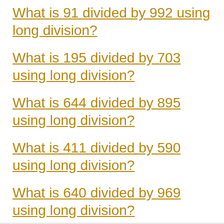What is 91 divided by 992 using long division?
What is 195 divided by 703 using long division?
What is 644 divided by 895 using long division?
What is 411 divided by 590 using long division?
What is 640 divided by 969 using long division?
What is 755 divided by 777 using long division?